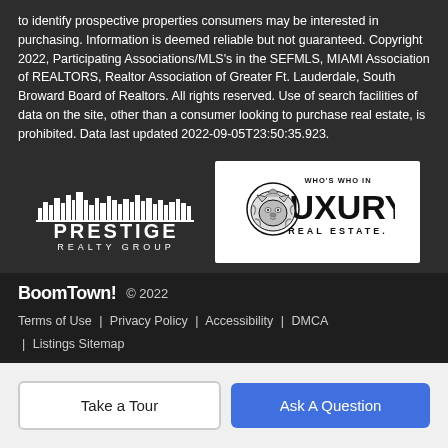to identify prospective properties consumers may be interested in purchasing. Information is deemed reliable but not guaranteed. Copyright 2022, Participating Associations/MLS's in the SEFMLS, MIAMI Association of REALTORS, Realtor Association of Greater Ft. Lauderdale, South Broward Board of Realtors. All rights reserved. Use of search facilities of data on the site, other than a consumer looking to purchase real estate, is prohibited. Data last updated 2022-09-05T23:50:35.923.
[Figure (logo): Prestige Realty Group logo - white text with city skyline silhouette on dark background]
[Figure (logo): Who's Who In Luxury Real Estate logo - lion head illustration with bold LUXURY text on white background]
BoomTown! © 2022
Terms of Use | Privacy Policy | Accessibility | DMCA | Listings Sitemap
Take a Tour
Ask A Question